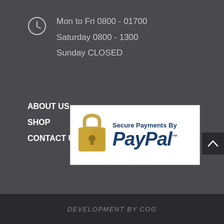Mon to Fri 0800 - 01700
Saturday 0800 - 1300
Sunday CLOSED
ABOUT US
SHOP
CONTACT US
[Figure (logo): Secure Payments By PayPal badge with padlock icon]
DEVELOPMENT BY COG